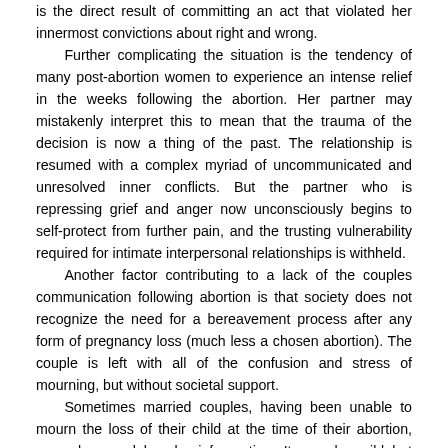is the direct result of committing an act that violated her innermost convictions about right and wrong.
    Further complicating the situation is the tendency of many post-abortion women to experience an intense relief in the weeks following the abortion. Her partner may mistakenly interpret this to mean that the trauma of the decision is now a thing of the past. The relationship is resumed with a complex myriad of uncommunicated and unresolved inner conflicts. But the partner who is repressing grief and anger now unconsciously begins to self-protect from further pain, and the trusting vulnerability required for intimate interpersonal relationships is withheld.
    Another factor contributing to a lack of the couples communication following abortion is that society does not recognize the need for a bereavement process after any form of pregnancy loss (much less a chosen abortion). The couple is left with all of the confusion and stress of mourning, but without societal support.
    Sometimes married couples, having been unable to mourn the loss of their child at the time of their abortion, may show a delayed grief reaction. It may be mild but persistent, or it may occur in more extreme form many years later when a subsequent loss of a different nature triggers repressed and conflicting feelings relating to the earlier loss of their baby. Examples of delayed reactions include inability to function, sexual and interpersonal conflict,